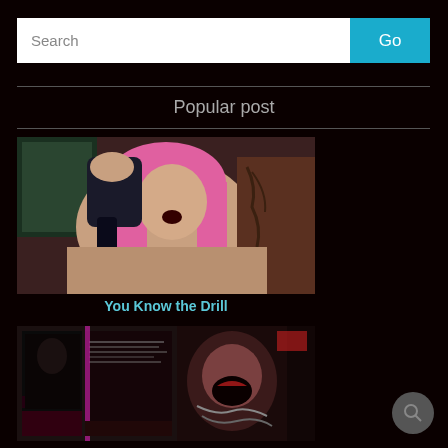[Figure (screenshot): Search bar with text input field showing 'Search' placeholder and a teal 'Go' button]
Popular post
[Figure (photo): Photo of a woman with pink hair using a power drill, partially undressed]
You Know the Drill
[Figure (photo): Two smaller thumbnail images side by side showing dark themed content]